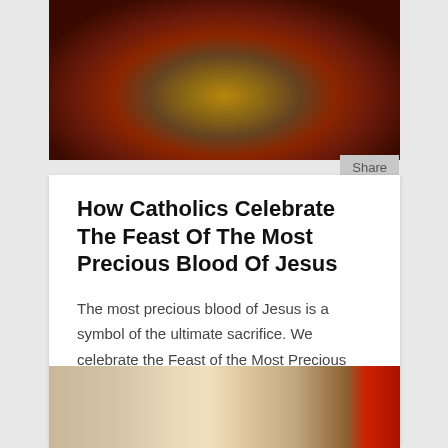[Figure (photo): Religious artwork showing figures in a circular composition with red and gold tones, partially cropped at top]
How Catholics Celebrate The Feast Of The Most Precious Blood Of Jesus
The most precious blood of Jesus is a symbol of the ultimate sacrifice. We celebrate the Feast of the Most Precious Blood of Our Lord Jesus Christ in July.
[Figure (photo): Close-up photo of hands holding religious items including what appears to be a red book, in a liturgical setting]